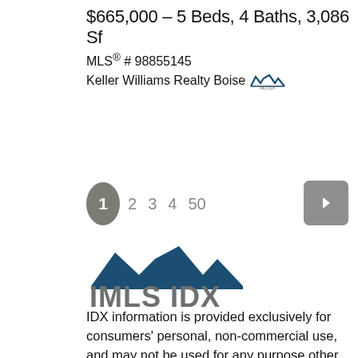$665,000 – 5 Beds, 4 Baths, 3,086 Sf
MLS® # 98855145
Keller Williams Realty Boise [IMLS IDX logo]
1  2  3  4  50
[Figure (logo): IMLS IDX logo with mountain graphic above bold text 'IMLS IDX']
IDX information is provided exclusively for consumers' personal, non-commercial use, and may not be used for any purpose other than to identify prospective properties consumers may be interested in purchasing. IMLS does not assume any liability for missing or inaccurate data. Information provided by IMLS is deemed